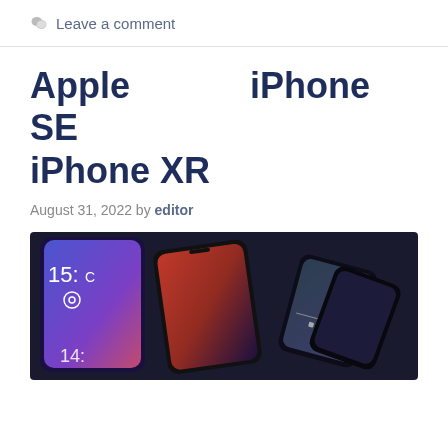Leave a comment
Apple iPhone SE iPhone XR
August 31, 2022 by editor
[Figure (photo): Three iPhones arranged overlapping each other on a dark background, showing their screens with various wallpapers and interfaces including a clock screen and music player.]